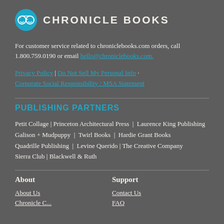[Figure (logo): Chronicle Books logo: teal circle with stylized glasses icon and CHRONICLE BOOKS text in bold uppercase]
For customer service related to chroniclebooks.com orders, call 1.800.759.0190 or email hello@chroniclebooks.com.
Privacy Policy | Do Not Sell My Personal Info · Corporate Social Responsibility / MSA Statement
PUBLISHING PARTNERS
Petit Collage | Princeton Architectural Press | Laurence King Publishing
Galison + Mudpuppy | Twirl Books | Hardie Grant Books
Quadrille Publishing | Levine Querido | The Creative Company
Sierra Club | Blackwell & Ruth
About
Support
About Us
Contact Us
Chronicle C...
FAQ